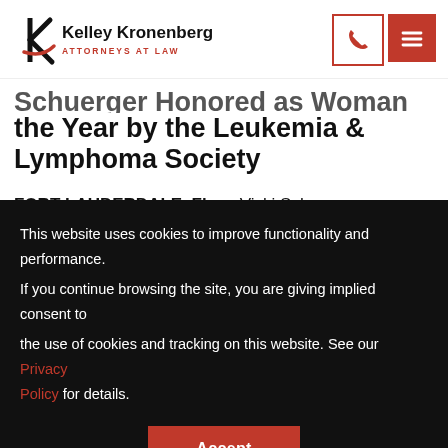Kelley Kronenberg — Attorneys at Law
Schuerger Honored as Woman of the Year by the Leukemia & Lymphoma Society
FORT LAUDERDALE, Fla. – Vicki Schuerger, an Executive Legal Liaison in Kelley Kronenberg's...
This website uses cookies to improve functionality and performance. If you continue browsing the site, you are giving implied consent to the use of cookies and tracking on this website. See our Privacy Policy for details.
Accept